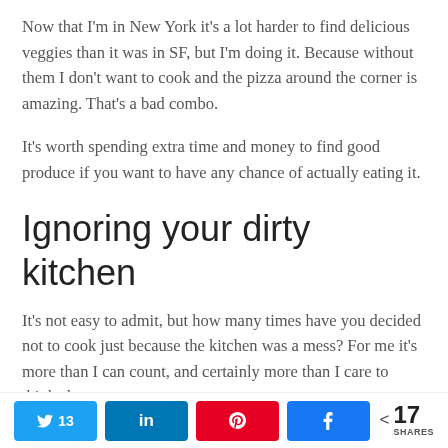Now that I'm in New York it's a lot harder to find delicious veggies than it was in SF, but I'm doing it. Because without them I don't want to cook and the pizza around the corner is amazing. That's a bad combo.
It's worth spending extra time and money to find good produce if you want to have any chance of actually eating it.
Ignoring your dirty kitchen
It's not easy to admit, but how many times have you decided not to cook just because the kitchen was a mess? For me it's more than I can count, and certainly more than I care to think about.
Mustering up the desire to cook after a long day is hard
13  in  ♡  f  < 17 SHARES